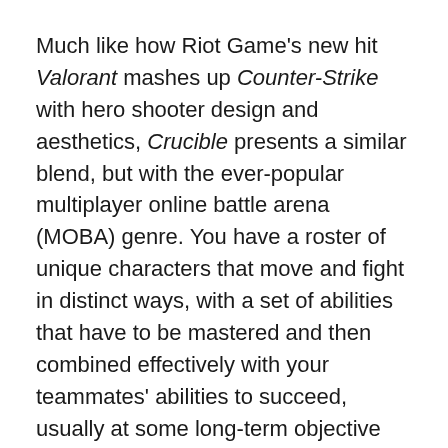Much like how Riot Game's new hit Valorant mashes up Counter-Strike with hero shooter design and aesthetics, Crucible presents a similar blend, but with the ever-popular multiplayer online battle arena (MOBA) genre. You have a roster of unique characters that move and fight in distinct ways, with a set of abilities that have to be mastered and then combined effectively with your teammates' abilities to succeed, usually at some long-term objective that takes 30 or more minutes to accomplish.
The crucial difference with Crucible is that you're doing so in third person within a large, open objective-based map, as one does in games like Dota and League. (Unlike a traditional MOBA, the camera follows your character from an over-the-